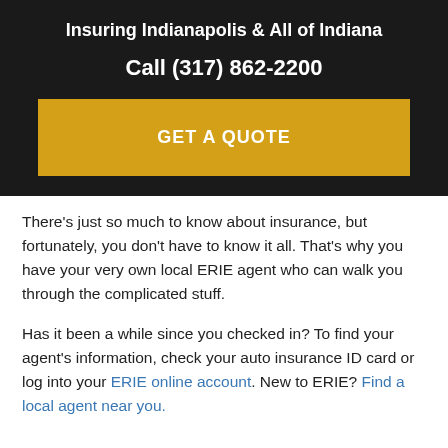Insuring Indianapolis & All of Indiana
Call (317) 862-2200
GET A QUOTE
There's just so much to know about insurance, but fortunately, you don't have to know it all. That's why you have your very own local ERIE agent who can walk you through the complicated stuff.
Has it been a while since you checked in? To find your agent's information, check your auto insurance ID card or log into your ERIE online account. New to ERIE? Find a local agent near you.